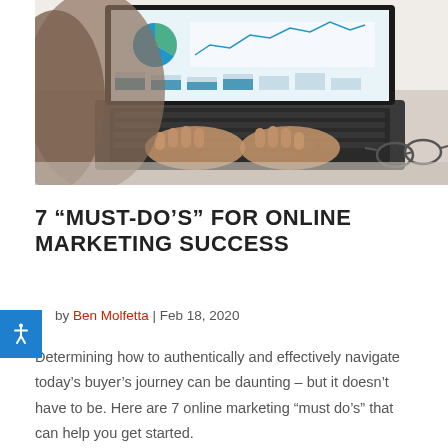[Figure (photo): Person typing on a laptop with analytics dashboard on screen, glasses visible to the right]
7 “MUST-DO’S” FOR ONLINE MARKETING SUCCESS
by Ben Molfetta | Feb 18, 2020
Determining how to authentically and effectively navigate today’s buyer’s journey can be daunting – but it doesn’t have to be. Here are 7 online marketing “must do’s” that can help you get started.